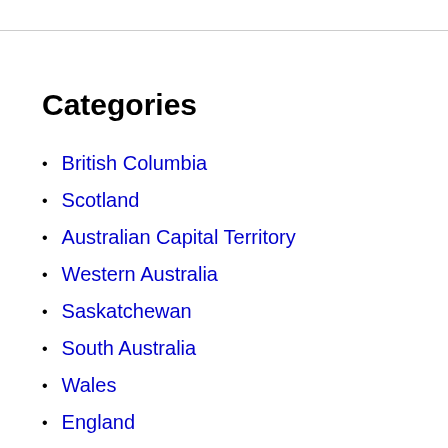Categories
British Columbia
Scotland
Australian Capital Territory
Western Australia
Saskatchewan
South Australia
Wales
England